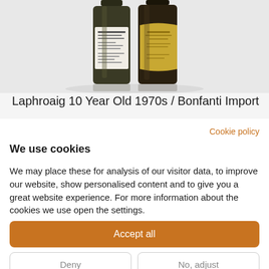[Figure (photo): Product photo of two whisky bottles - Laphroaig 10 Year Old 1970s / Bonfanti Import, one dark bottle with a white label and one with a gold/yellow label, on a light background]
Laphroaig 10 Year Old 1970s / Bonfanti Import
Cookie policy
We use cookies
We may place these for analysis of our visitor data, to improve our website, show personalised content and to give you a great website experience. For more information about the cookies we use open the settings.
Accept all
Deny
No, adjust